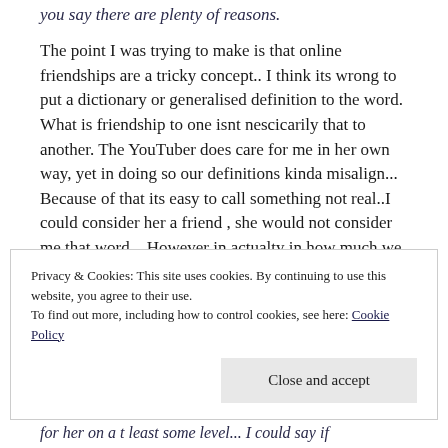you say there are plenty of reasons.
The point I was trying to make is that online friendships are a tricky concept.. I think its wrong to put a dictionary or generalised definition to the word. What is friendship to one isnt nescicarily that to another. The YouTuber does care for me in her own way, yet in doing so our definitions kinda misalign... Because of that its easy to call something not real..I could consider her a friend , she would not consider me that word... However in actualty in how much we empatise with another we arent that far off.. our hearts see a bond
Privacy & Cookies: This site uses cookies. By continuing to use this website, you agree to their use.
To find out more, including how to control cookies, see here: Cookie Policy
Close and accept
for her on a t least some level... I could say if